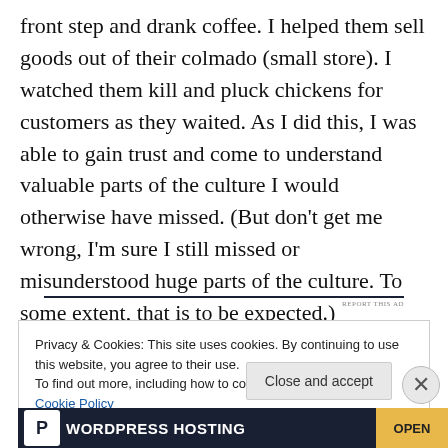front step and drank coffee. I helped them sell goods out of their colmado (small store). I watched them kill and pluck chickens for customers as they waited. As I did this, I was able to gain trust and come to understand valuable parts of the culture I would otherwise have missed. (But don't get me wrong, I'm sure I still missed or misunderstood huge parts of the culture. To some extent, that is to be expected.)
REPORT THIS AD
Privacy & Cookies: This site uses cookies. By continuing to use this website, you agree to their use.
To find out more, including how to control cookies, see here: Cookie Policy
[Figure (other): WordPress Hosting advertisement banner at bottom of page]